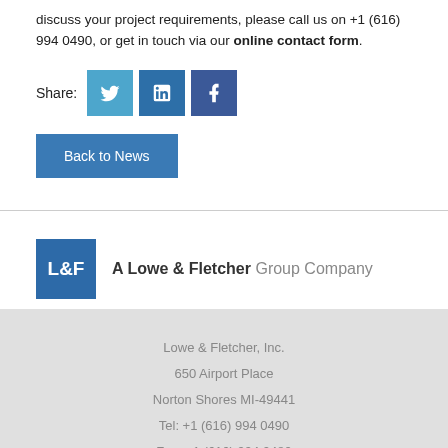discuss your project requirements, please call us on +1 (616) 994 0490, or get in touch via our online contact form.
Share:
[Figure (infographic): Social share buttons: Twitter, LinkedIn, Facebook]
Back to News
[Figure (logo): L&F logo with text: A Lowe & Fletcher Group Company]
Lowe & Fletcher, Inc.
650 Airport Place
Norton Shores MI-49441
Tel: +1 (616) 994 0490
Fax: +1 (616) 994 0480